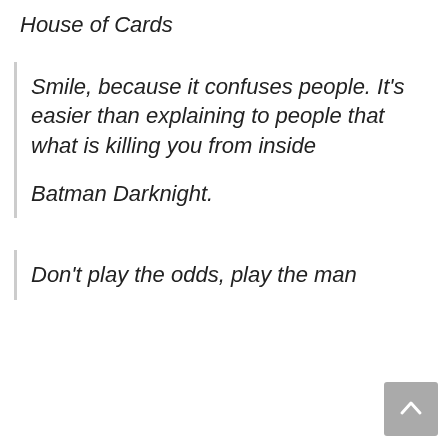House of Cards
Smile, because it confuses people. It’s easier than explaining to people that what is killing you from inside

Batman Darknight.
Don’t play the odds, play the man